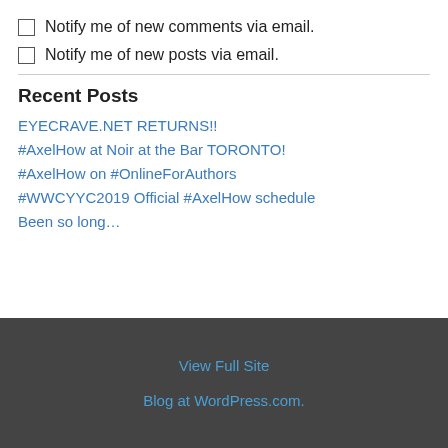Notify me of new comments via email.
Notify me of new posts via email.
Recent Posts
EYECRAVE.NET RETURNS!!
#AxelHow at Noir at the Bar TORONTO!
#AxelHow on #OnlineForAuthors
#WWCYYC2019 Official #AxelHow schedule
Been so long…
View Full Site
Blog at WordPress.com.